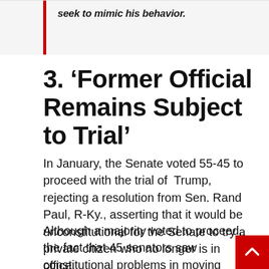seek to mimic his behavior.
3. ‘Former Official Remains Subject to Trial’
In January, the Senate voted 55-45 to proceed with the trial of Trump, rejecting a resolution from Sen. Rand Paul, R-Ky., asserting that it would be unconstitutional for the Senate to try a private citizen who no longer is in office.
Although a majority voted to proceed, the fact that 45 senators saw constitutional problems in moving ahead demonstrates that the Senate isn’t likely to reach the 67 votes needed to convict and disqualify Trump from holding future federal...